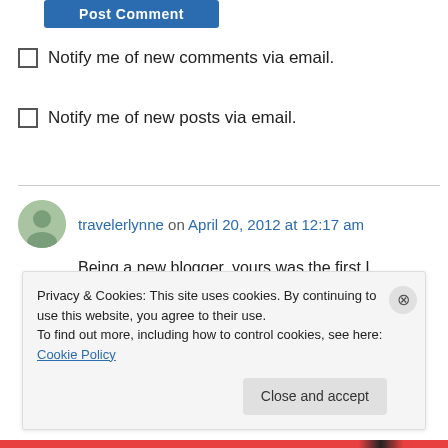[Figure (other): Blue 'Post Comment' button, partially cropped at top]
Notify me of new comments via email.
Notify me of new posts via email.
travelerlynne on April 20, 2012 at 12:17 am
Being a new blogger, yours was the first I discovered on Freshly Pressed, and yes, I have wondered what has happened to you. Now we know. No bumps in the road, just an educational
Privacy & Cookies: This site uses cookies. By continuing to use this website, you agree to their use.
To find out more, including how to control cookies, see here: Cookie Policy
Close and accept